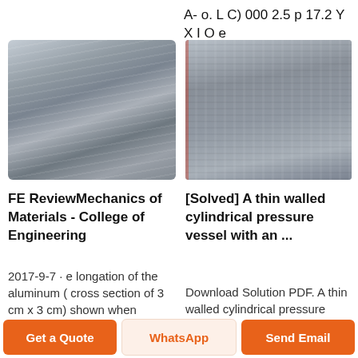A- o. L C) 000 2.5 p 17.2 Y X I O e
[Figure (photo): Stack of aluminum metal plates/sheets piled on top of each other, industrial setting]
[Figure (photo): Single flat metal plate/sheet with smooth surface, slight red mark on left edge]
FE ReviewMechanics of Materials - College of Engineering
[Solved] A thin walled cylindrical pressure vessel with an ...
2017-9-7 · e longation of the aluminum ( cross section of 3 cm x 3 cm) shown when loaded to its y i.e l d point? The modulus
Download Solution PDF. A thin walled cylindrical pressure vessel with an inside diameter of 300 mm and wall thickness of 3 mm
Get a Quote
WhatsApp
Send Email